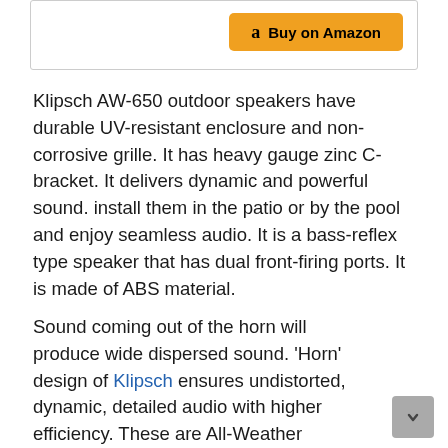[Figure (other): A bordered box with an orange 'Buy on Amazon' button featuring the Amazon 'a' logo icon]
Klipsch AW-650 outdoor speakers have durable UV-resistant enclosure and non-corrosive grille. It has heavy gauge zinc C-bracket. It delivers dynamic and powerful sound. install them in the patio or by the pool and enjoy seamless audio. It is a bass-reflex type speaker that has dual front-firing ports. It is made of ABS material.
Sound coming out of the horn will produce wide dispersed sound. 'Horn' design of Klipsch ensures undistorted, dynamic, detailed audio with higher efficiency. These are All-Weather loudspeakers made from